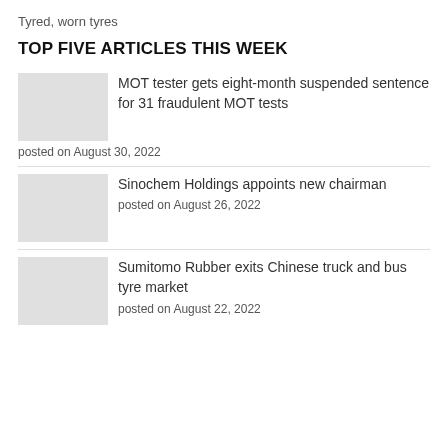Tyred, worn tyres
TOP FIVE ARTICLES THIS WEEK
MOT tester gets eight-month suspended sentence for 31 fraudulent MOT tests
posted on August 30, 2022
Sinochem Holdings appoints new chairman
posted on August 26, 2022
Sumitomo Rubber exits Chinese truck and bus tyre market
posted on August 22, 2022